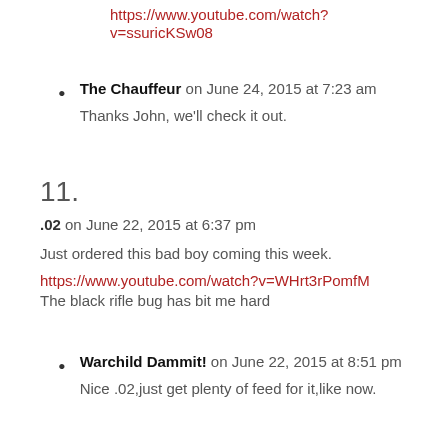https://www.youtube.com/watch?v=ssuricKSw08
The Chauffeur on June 24, 2015 at 7:23 am
Thanks John, we'll check it out.
11.
.02 on June 22, 2015 at 6:37 pm
Just ordered this bad boy coming this week.
https://www.youtube.com/watch?v=WHrt3rPomfM
The black rifle bug has bit me hard
Warchild Dammit! on June 22, 2015 at 8:51 pm
Nice .02,just get plenty of feed for it,like now.